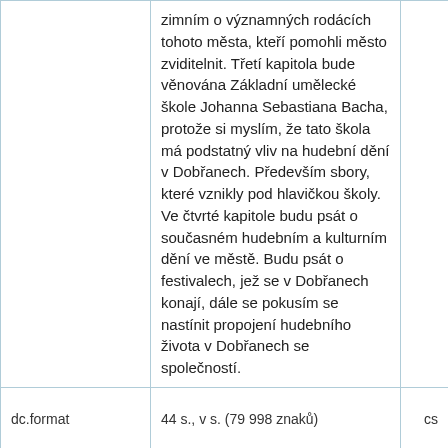|  |  |  |
| --- | --- | --- |
|  | zimním o významných rodácích tohoto města, kteří pomohli město zviditelnit. Třetí kapitola bude věnována Základní umělecké škole Johanna Sebastiana Bacha, protože si myslím, že tato škola má podstatný vliv na hudební dění v Dobřanech. Především sbory, které vznikly pod hlavičkou školy. Ve čtvrté kapitole budu psát o současném hudebním a kulturním dění ve městě. Budu psát o festivalech, jež se v Dobřanech konají, dále se pokusím se nastínit propojení hudebního života v Dobřanech se společností. |  |
| dc.format | 44 s., v s. (79 998 znaků) | cs |
| dc.format.mimetype | application/pdf |  |
| dc.language.iso | cs | cs |